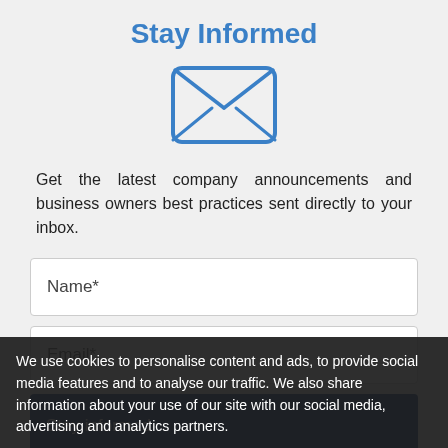Stay Informed
[Figure (illustration): Blue envelope icon with X cross lines inside, representing email/newsletter signup]
Get the latest company announcements and business owners best practices sent directly to your inbox.
Name*
Email*
Stay informed
We use cookies to personalise content and ads, to provide social media features and to analyse our traffic. We also share information about your use of our site with our social media, advertising and analytics partners.